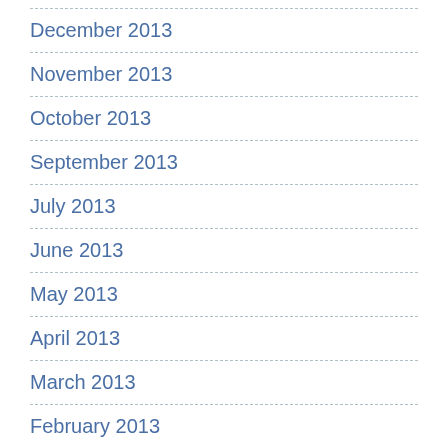December 2013
November 2013
October 2013
September 2013
July 2013
June 2013
May 2013
April 2013
March 2013
February 2013
© 2022 Racial Justice Allies racialjusticeallies (at) gmail (dot) com